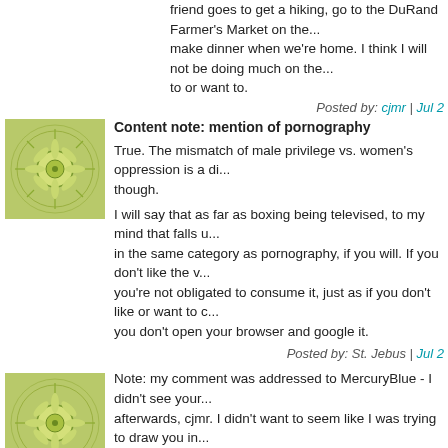friend goes to get a hiking, go to the DuRand Farmer's Market on the... make dinner when we're home. I think I will not be doing much on the... to or want to.
Posted by: cjmr | Jul 2
Content note: mention of pornography
True. The mismatch of male privilege vs. women's oppression is a di... though.
I will say that as far as boxing being televised, to my mind that falls u... in the same category as pornography, if you will. If you don't like the v... you're not obligated to consume it, just as if you don't like or want to c... you don't open your browser and google it.
Posted by: St. Jebus | Jul 2
Note: my comment was addressed to MercuryBlue - I didn't see your... afterwards, cjmr. I didn't want to seem like I was trying to draw you in... spoons on me. :)
Posted by: St. Jebus | Jul 2
Yeah, cjmr, that's...not bright of them. About as not bright as the idea... porn sites.
It does say something about our collective priorities that television sta...